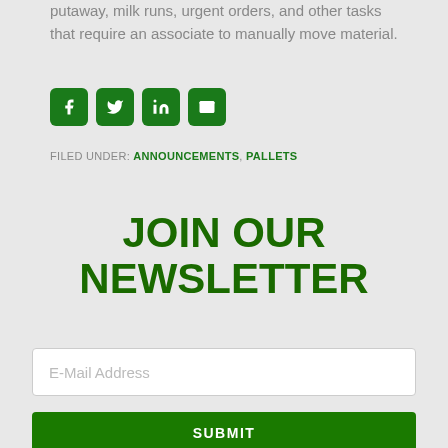putaway, milk runs, urgent orders, and other tasks that require an associate to manually move material.
[Figure (infographic): Social media share icons: Facebook, Twitter, LinkedIn, Email — all in dark green rounded square buttons]
FILED UNDER: ANNOUNCEMENTS, PALLETS
JOIN OUR NEWSLETTER
E-Mail Address
SUBMIT